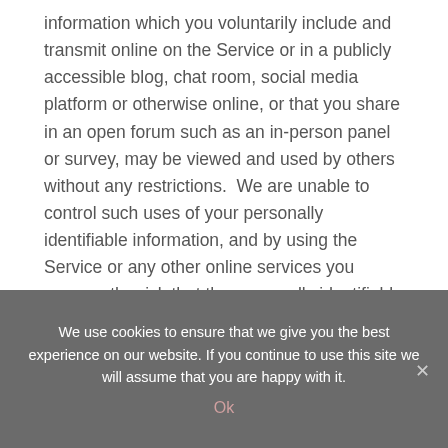information which you voluntarily include and transmit online on the Service or in a publicly accessible blog, chat room, social media platform or otherwise online, or that you share in an open forum such as an in-person panel or survey, may be viewed and used by others without any restrictions.  We are unable to control such uses of your personally identifiable information, and by using the Service or any other online services you assume the risk that the personally identifiable information provided by you may be viewed and used by third parties for any number of purposes.
We use cookies to ensure that we give you the best experience on our website. If you continue to use this site we will assume that you are happy with it.
Ok